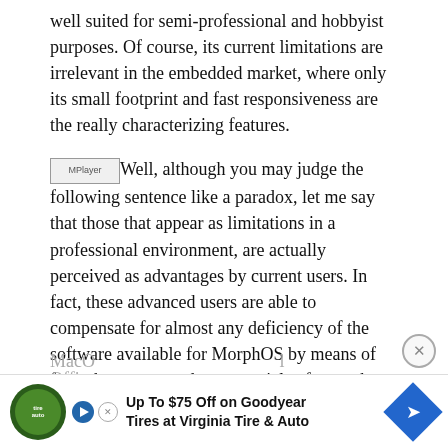well suited for semi-professional and hobbyist purposes. Of course, its current limitations are irrelevant in the embedded market, where only its small footprint and fast responsiveness are the really characterizing features.
[MPlayer] Well, although you may judge the following sentence like a paradox, let me say that those that appear as limitations in a professional environment, are actually perceived as advantages by current users. In fact, these advanced users are able to compensate for almost any deficiency of the software available for MorphOS by means of free, shareware, and commercial software that already exists for the Amiga platform or is in the development phase for MorphOS. They already use MorphOS at its best, obtaining a responsiveness unparalleled on every other platform; and their environment is totally immune from any virus, worm, trojan, spyware, adware and similar beasts coming from the n[...] MacO[...] l Offic[...]
[Figure (other): Advertisement banner: Up To $75 Off on Goodyear Tires at Virginia Tire & Auto, with TireAuto logo, play button, close X button, and blue arrow icon]